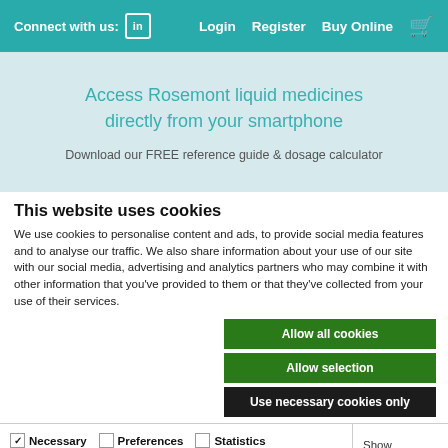Connect with us: [LinkedIn] Login Register Buy Online [cart]
Access Rosemont liquid medicines directly from your smartphone
Download our FREE reference guide & dosage calculator
This website uses cookies
We use cookies to personalise content and ads, to provide social media features and to analyse our traffic. We also share information about your use of our site with our social media, advertising and analytics partners who may combine it with other information that you've provided to them or that they've collected from your use of their services.
Allow all cookies | Allow selection | Use necessary cookies only
Necessary [checked] Preferences [unchecked] Statistics [unchecked] Marketing [unchecked] Show details